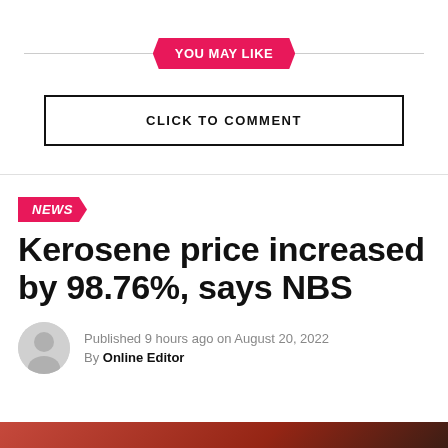YOU MAY LIKE
CLICK TO COMMENT
NEWS
Kerosene price increased by 98.76%, says NBS
Published 9 hours ago on August 20, 2022
By Online Editor